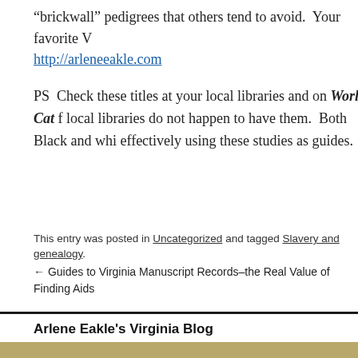“brickwall” pedigrees that others tend to avoid.  Your favorite V
http://arleneeakle.com
PS  Check these titles at your local libraries and on World Cat f local libraries do not happen to have them.  Both Black and whi effectively using these studies as guides.
This entry was posted in Uncategorized and tagged Slavery and genealogy.
← Guides to Virginia Manuscript Records–the Real Value of Finding Aids
Arlene Eakle's Virginia Blog